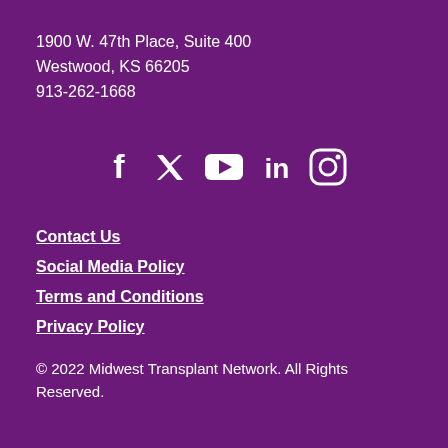1900 W. 47th Place, Suite 400
Westwood, KS 66205
913-262-1668
[Figure (infographic): Social media icons: Facebook, Twitter, YouTube, LinkedIn, Instagram — white icons on purple background]
Contact Us
Social Media Policy
Terms and Conditions
Privacy Policy
© 2022 Midwest Transplant Network. All Rights Reserved.